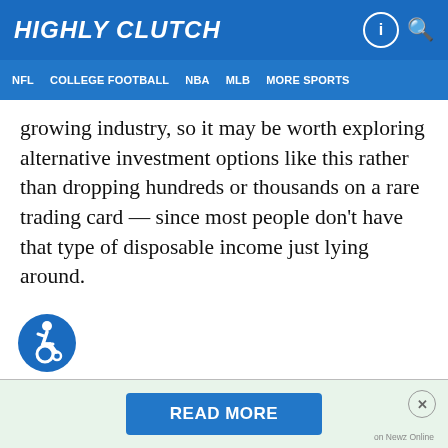HIGHLY CLUTCH
NFL  COLLEGE FOOTBALL  NBA  MLB  MORE SPORTS
growing industry, so it may be worth exploring alternative investment options like this rather than dropping hundreds or thousands on a rare trading card — since most people don't have that type of disposable income just lying around.
[Figure (illustration): Wheelchair accessibility icon — blue circle with white figure in wheelchair]
[Figure (other): Advertisement banner with READ MORE button and Newz Online label]